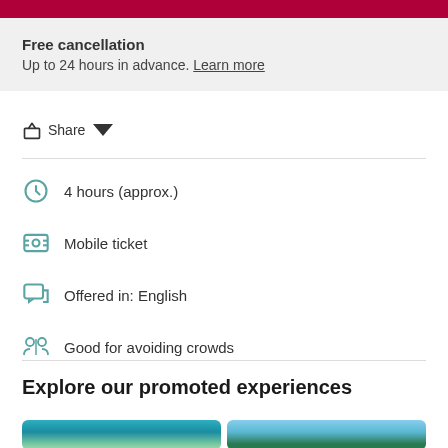Free cancellation
Up to 24 hours in advance. Learn more
Share
4 hours (approx.)
Mobile ticket
Offered in: English
Good for avoiding crowds
Explore our promoted experiences
[Figure (photo): Two travel destination photos side by side showing tropical island with turquoise water and a coastal scene with palm trees]